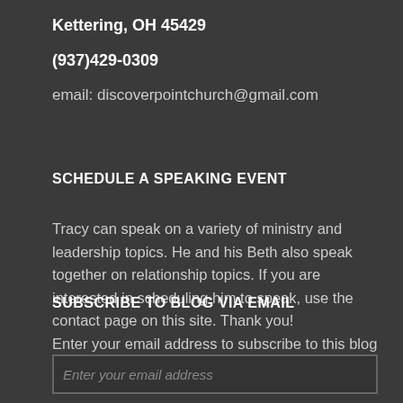Kettering, OH 45429
(937)429-0309
email: discoverpointchurch@gmail.com
SCHEDULE A SPEAKING EVENT
Tracy can speak on a variety of ministry and leadership topics. He and his Beth also speak together on relationship topics. If you are interested in scheduling him to speak, use the contact page on this site. Thank you!
SUBSCRIBE TO BLOG VIA EMAIL
Enter your email address to subscribe to this blog and receive notifications of new posts by email.
Enter your email address